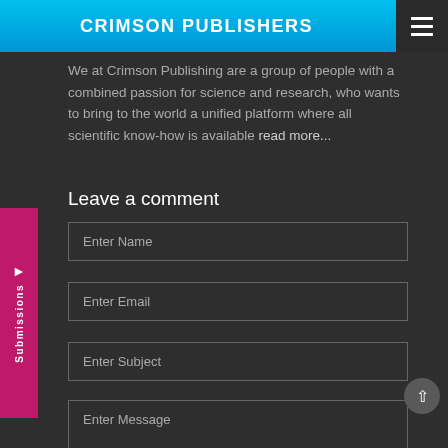CRIMSON PUBLISHERS
We at Crimson Publishing are a group of people with a combined passion for science and research, who wants to bring to the world a unified platform where all scientific know-how is available read more...
Leave a comment
Enter Name
Enter Email
Enter Subject
Enter Message